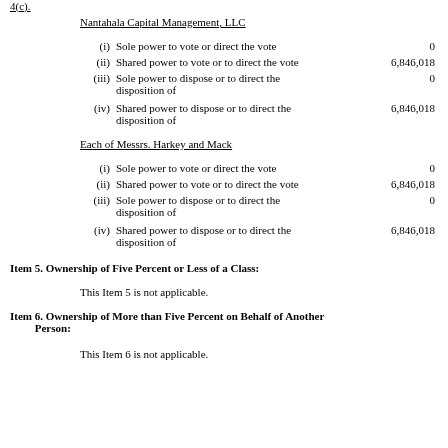4(c).
Nantahala Capital Management, LLC
(i) Sole power to vote or direct the vote   0
(ii) Shared power to vote or to direct the vote   6,846,018
(iii) Sole power to dispose or to direct the disposition of   0
(iv) Shared power to dispose or to direct the disposition of   6,846,018
Each of Messrs. Harkey and Mack
(i) Sole power to vote or direct the vote   0
(ii) Shared power to vote or to direct the vote   6,846,018
(iii) Sole power to dispose or to direct the disposition of   0
(iv) Shared power to dispose or to direct the disposition of   6,846,018
Item 5. Ownership of Five Percent or Less of a Class:
This Item 5 is not applicable.
Item 6. Ownership of More than Five Percent on Behalf of Another Person:
This Item 6 is not applicable.